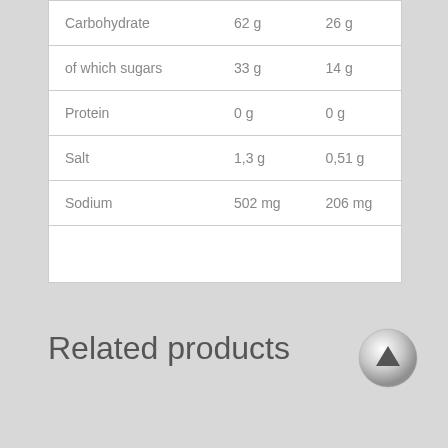|  |  |  |
| --- | --- | --- |
| Carbohydrate | 62 g | 26 g |
| of which sugars | 33 g | 14 g |
| Protein | 0 g | 0 g |
| Salt | 1,3 g | 0,51 g |
| Sodium | 502 mg | 206 mg |
|  |  |  |
Related products
[Figure (other): Scroll-to-top button with upward-pointing triangle arrow]